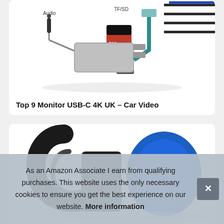[Figure (photo): Product photo of a USB-C hub/dock with multiple cables connected including audio, TF/SD card slot, ethernet, and USB cables on a white background]
Top 9 Monitor USB-C 4K UK – Car Video
[Figure (photo): Product photo of a black and blue car mount or holder accessory on a white background]
As an Amazon Associate I earn from qualifying purchases. This website uses the only necessary cookies to ensure you get the best experience on our website. More information